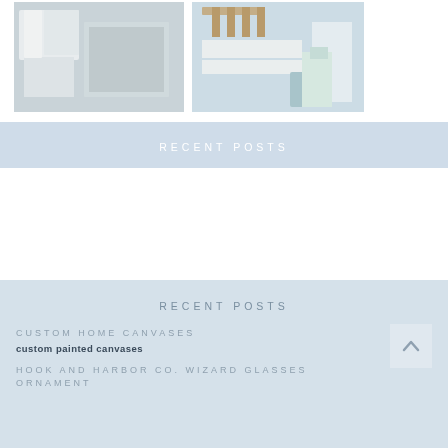[Figure (photo): Bathroom with white vanity, glass shower, and marble tiles]
[Figure (photo): Light blue shelves with folded towels, hanging wooden hangers, and a vase of white tulips]
RECENT POSTS
RECENT POSTS
CUSTOM HOME CANVASES
custom painted canvases
HOOK AND HARBOR CO. WIZARD GLASSES ORNAMENT